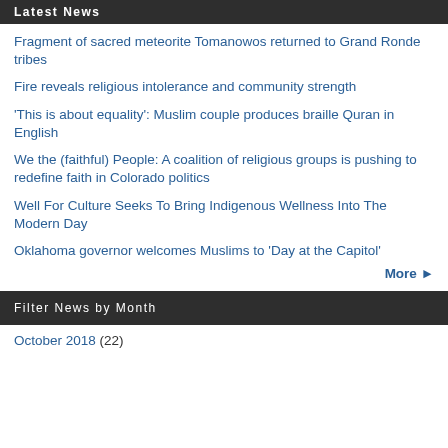Latest News
Fragment of sacred meteorite Tomanowos returned to Grand Ronde tribes
Fire reveals religious intolerance and community strength
'This is about equality': Muslim couple produces braille Quran in English
We the (faithful) People: A coalition of religious groups is pushing to redefine faith in Colorado politics
Well For Culture Seeks To Bring Indigenous Wellness Into The Modern Day
Oklahoma governor welcomes Muslims to 'Day at the Capitol'
More ▶
Filter News by Month
October 2018 (22)